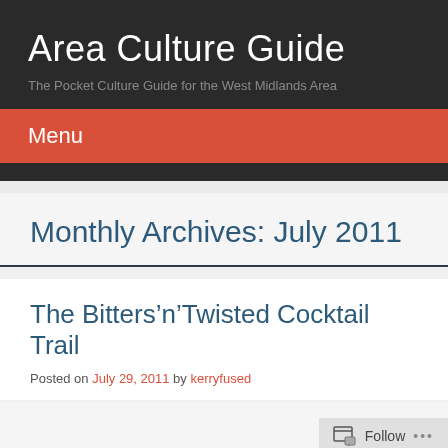Area Culture Guide
The Pocket Culture Guide for the West Midlands Area
Menu
Monthly Archives: July 2011
The Bitters’n’Twisted Cocktail Trail
Posted on July 29, 2011 by kerryfused
Follow ...